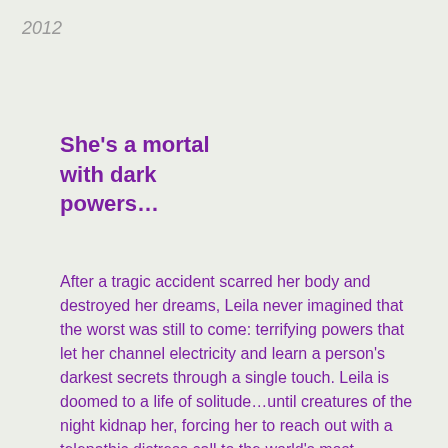2012
She's a mortal with dark powers…
After a tragic accident scarred her body and destroyed her dreams, Leila never imagined that the worst was still to come: terrifying powers that let her channel electricity and learn a person's darkest secrets through a single touch. Leila is doomed to a life of solitude…until creatures of the night kidnap her, forcing her to reach out with a telepathic distress call to the world's most infamous vampire…